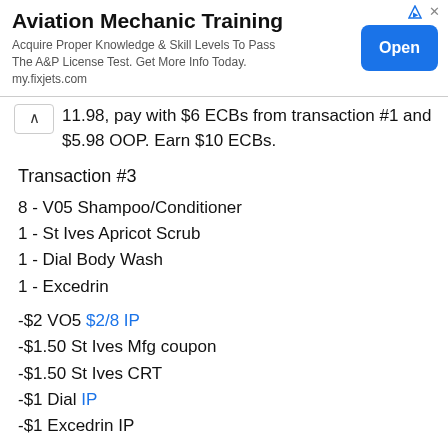[Figure (other): Advertisement banner for Aviation Mechanic Training with Open button]
11.98, pay with $6 ECBs from transaction #1 and $5.98 OOP. Earn $10 ECBs.
Transaction #3
8 - V05 Shampoo/Conditioner
1 - St Ives Apricot Scrub
1 - Dial Body Wash
1 - Excedrin
-$2 VO5 $2/8 IP
-$1.50 St Ives Mfg coupon
-$1.50 St Ives CRT
-$1 Dial IP
-$1 Excedrin IP
Total $10.93. Pay with $10 ECB from Transaction #2 and